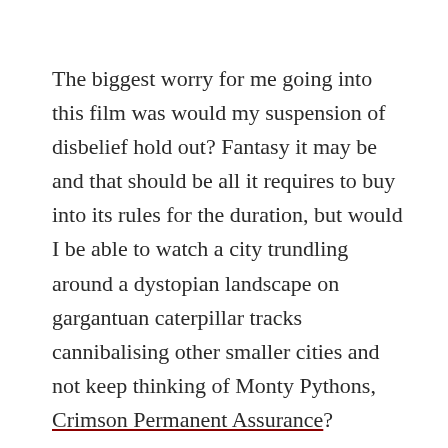The biggest worry for me going into this film was would my suspension of disbelief hold out? Fantasy it may be and that should be all it requires to buy into its rules for the duration, but would I be able to watch a city trundling around a dystopian landscape on gargantuan caterpillar tracks cannibalising other smaller cities and not keep thinking of Monty Pythons, Crimson Permanent Assurance?
I needn't have worried; the high-octane opening showing a giant London on caterpillar tracks chasing a small Bavarian mining Village was presented with such straightforward sense of adventure and